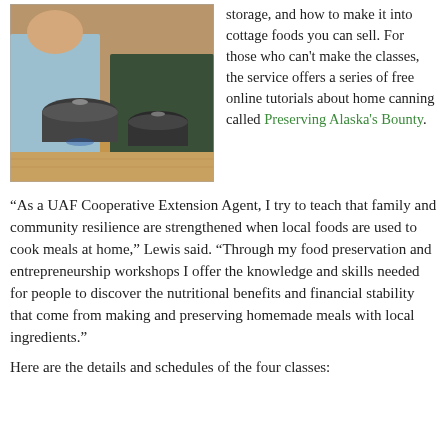[Figure (photo): Photo of people cooking with large pots on a stove, viewed from behind, one person in light blue shirt and another in dark green.]
storage, and how to make it into cottage foods you can sell. For those who can't make the classes, the service offers a series of free online tutorials about home canning called Preserving Alaska's Bounty.
“As a UAF Cooperative Extension Agent, I try to teach that family and community resilience are strengthened when local foods are used to cook meals at home,” Lewis said. “Through my food preservation and entrepreneurship workshops I offer the knowledge and skills needed for people to discover the nutritional benefits and financial stability that come from making and preserving homemade meals with local ingredients.”
Here are the details and schedules of the four classes: